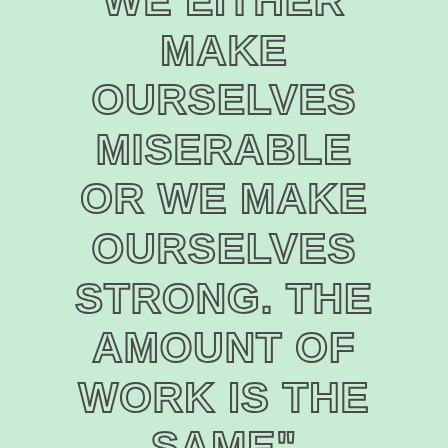WE EITHER MAKE OURSELVES MISERABLE OR WE MAKE OURSELVES STRONG. THE AMOUNT OF WORK IS THE SAME"